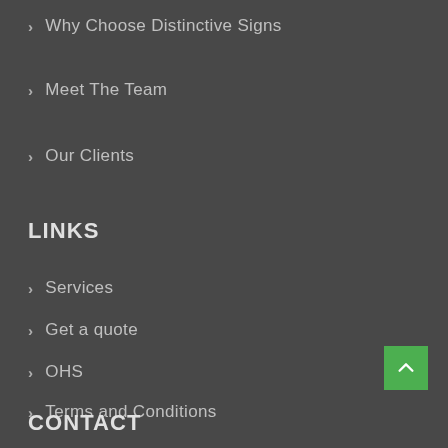Why Choose Distinctive Signs
Meet The Team
Our Clients
LINKS
Services
Get a quote
OHS
Terms and Conditions
CONTACT